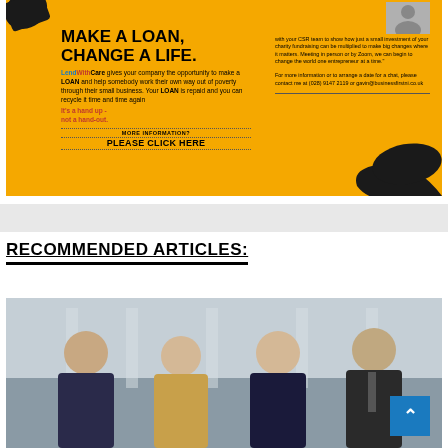[Figure (infographic): LendWithCare advertisement on orange/yellow background. Left side shows 'MAKE A LOAN, CHANGE A LIFE.' heading with body text about making a loan to help someone out of poverty. Right side shows a small photo of a person and text about CSR team partnership and contact information (028) 9147 2119 and gavin@businessfirstni.co.uk. Bottom includes 'MORE INFORMATION? PLEASE CLICK HERE' call to action. Features silhouette hand graphics.]
RECOMMENDED ARTICLES:
[Figure (photo): Group photo of four people (two men and two women) standing in front of a classical building with columns. They are dressed in business attire.]